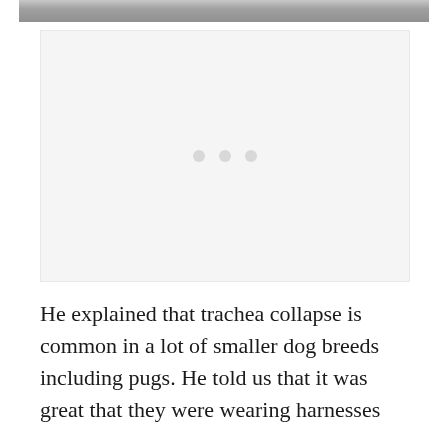[Figure (photo): Partial photograph visible at top of page, grey/stone texture]
[Figure (other): Advertisement placeholder box with three grey dots centered, light grey background]
He explained that trachea collapse is common in a lot of smaller dog breeds including pugs. He told us that it was great that they were wearing harnesses